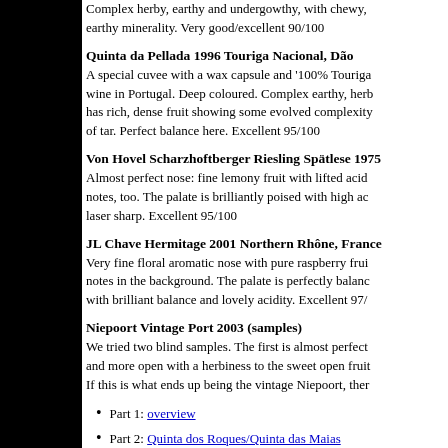Complex herby, earthy and undergowthy, with chewy, earthy minerality. Very good/excellent 90/100
Quinta da Pellada 1996 Touriga Nacional, Dão
A special cuvee with a wax capsule and '100% Touriga wine in Portugal. Deep coloured. Complex earthy, herb has rich, dense fruit showing some evolved complexity of tar. Perfect balance here. Excellent 95/100
Von Hovel Scharzhoftberger Riesling Spätlese 1975
Almost perfect nose: fine lemony fruit with lifted acid notes, too. The palate is brilliantly poised with high ac laser sharp. Excellent 95/100
JL Chave Hermitage 2001 Northern Rhône, France
Very fine floral aromatic nose with pure raspberry frui notes in the background. The palate is perfectly balanc with brilliant balance and lovely acidity. Excellent 97/
Niepoort Vintage Port 2003 (samples)
We tried two blind samples. The first is almost perfect and more open with a herbiness to the sweet open fruit If this is what ends up being the vintage Niepoort, ther
Part 1: overview
Part 2: Quinta dos Roques/Quinta das Maias